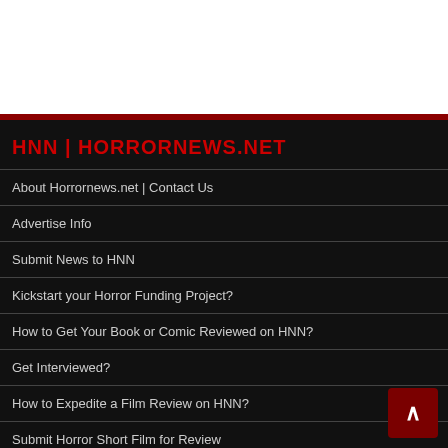[Figure (screenshot): White header area with dark red horizontal bar at bottom]
HNN | HORRORNEWS.NET
About Horrornews.net | Contact Us
Advertise Info
Submit News to HNN
Kickstart your Horror Funding Project?
How to Get Your Book or Comic Reviewed on HNN?
Get Interviewed?
How to Expedite a Film Review on HNN?
Submit Horror Short Film for Review
HNN Privacy Policy
Login